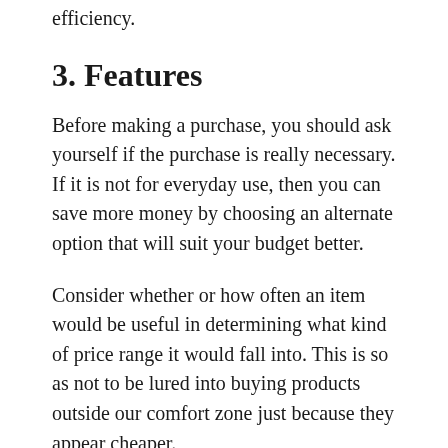efficiency.
3. Features
Before making a purchase, you should ask yourself if the purchase is really necessary. If it is not for everyday use, then you can save more money by choosing an alternate option that will suit your budget better.
Consider whether or how often an item would be useful in determining what kind of price range it would fall into. This is so as not to be lured into buying products outside our comfort zone just because they appear cheaper.